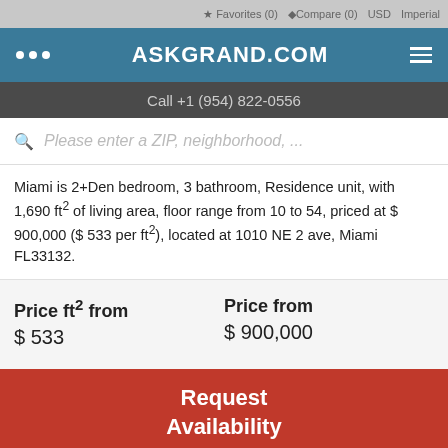Favorites (0)  Compare (0)  USD  Imperial
ASKGRAND.COM
Call +1 (954) 822-0556
Please enter a ZIP, neighborhood,...
Miami is 2+Den bedroom, 3 bathroom, Residence unit, with 1,690 ft² of living area, floor range from 10 to 54, priced at $ 900,000 ($ 533 per ft²), located at 1010 NE 2 ave, Miami FL33132.
Price ft² from
$ 533
Price from
$ 900,000
Request Availability
↑ Up    Call